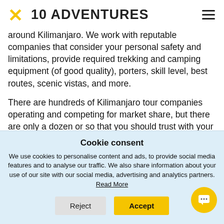10 ADVENTURES
around Kilimanjaro. We work with reputable companies that consider your personal safety and limitations, provide required trekking and camping equipment (of good quality), porters, skill level, best routes, scenic vistas, and more.
There are hundreds of Kilimanjaro tour companies operating and competing for market share, but there are only a dozen or so that you should trust with your life and money. With such a saturated market,
Cookie consent
We use cookies to personalise content and ads, to provide social media features and to analyse our traffic. We also share information about your use of our site with our social media, advertising and analytics partners. Read More